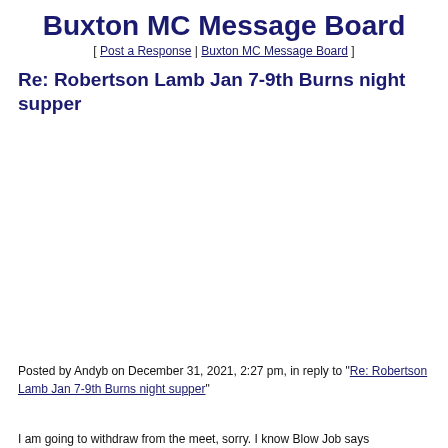Buxton MC Message Board
[ Post a Response | Buxton MC Message Board ]
Re: Robertson Lamb Jan 7-9th Burns night supper
Posted by Andyb on December 31, 2021, 2:27 pm, in reply to "Re: Robertson Lamb Jan 7-9th Burns night supper"
I am going to withdraw from the meet, sorry. I know Blow Job says